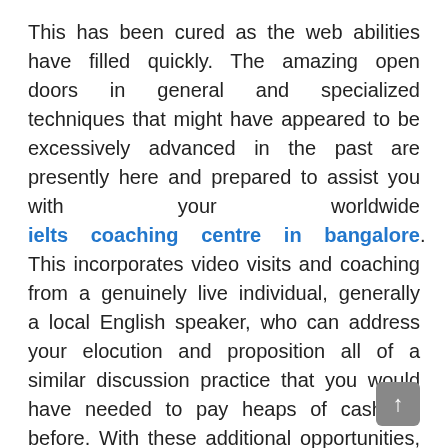This has been cured as the web abilities have filled quickly. The amazing open doors in general and specialized techniques that might have appeared to be excessively advanced in the past are presently here and prepared to assist you with your worldwide ielts coaching centre in bangalore. This incorporates video visits and coaching from a genuinely live individual, generally a local English speaker, who can address your elocution and proposition all of a similar discussion practice that you would have needed to pay heaps of cash for before. With these additional opportunities, it is more straightforward than at any other time to take monster steps in your own discussion abilities and increment benefits and your own attractiveness later on.